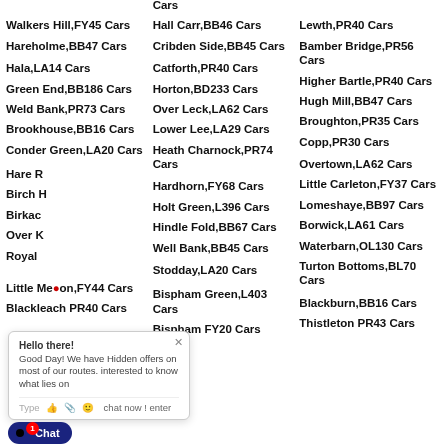Cars
Walkers Hill,FY45 Cars
Hall Carr,BB46 Cars
Lewth,PR40 Cars
Hareholme,BB47 Cars
Cribden Side,BB45 Cars
Bamber Bridge,PR56 Cars
Hala,LA14 Cars
Catforth,PR40 Cars
Higher Bartle,PR40 Cars
Green End,BB186 Cars
Horton,BD233 Cars
Hugh Mill,BB47 Cars
Weld Bank,PR73 Cars
Over Leck,LA62 Cars
Broughton,PR35 Cars
Brookhouse,BB16 Cars
Lower Lee,LA29 Cars
Copp,PR30 Cars
Conder Green,LA20 Cars
Heath Charnock,PR74 Cars
Overtown,LA62 Cars
Hare R...
Hardhorn,FY68 Cars
Little Carleton,FY37 Cars
Birch H...
Holt Green,L396 Cars
Lomeshaye,BB97 Cars
Birkac...
Hindle Fold,BB67 Cars
Borwick,LA61 Cars
Over K...
Well Bank,BB45 Cars
Waterbarn,OL130 Cars
Royal...
Stodday,LA20 Cars
Turton Bottoms,BL70 Cars
Little Me...on,FY44 Cars
Bispham Green,L403 Cars
Blackburn,BB16 Cars
Blackleach,PR40 Cars
Bispham,FY20 Cars
Thistleton,PR43 Cars